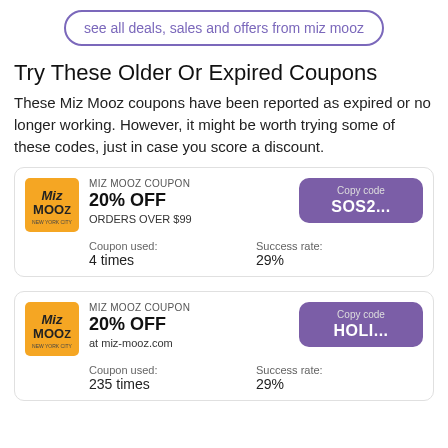see all deals, sales and offers from miz mooz
Try These Older Or Expired Coupons
These Miz Mooz coupons have been reported as expired or no longer working. However, it might be worth trying some of these codes, just in case you score a discount.
| Logo | Details | Code |
| --- | --- | --- |
| MIZ MOOZ COUPON
20% OFF
ORDERS OVER $99 | Coupon used: 4 times
Success rate: 29% | Copy code SOS2... |
| MIZ MOOZ COUPON
20% OFF
at miz-mooz.com | Coupon used: 235 times
Success rate: 29% | Copy code HOLI... |